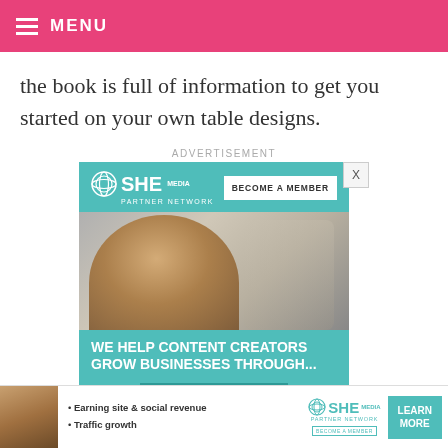MENU
the book is full of information to get you started on your own table designs.
ADVERTISEMENT
[Figure (illustration): SHE Media Partner Network advertisement with teal background, woman smiling with laptop photo, 'BECOME A MEMBER' button, 'WE HELP CONTENT CREATORS GROW BUSINESSES THROUGH...' headline, and 'LEARN MORE' button]
[Figure (illustration): Bottom banner ad for SHE Media Partner Network with woman photo, bullet points 'Earning site & social revenue' and 'Traffic growth', SHE logo, and LEARN MORE button]